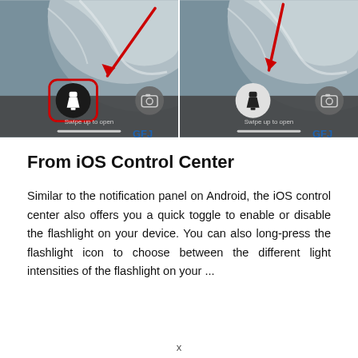[Figure (screenshot): Two side-by-side screenshots of an iPhone lock screen showing the flashlight icon. Left image has a red rectangle highlighting the flashlight icon with a red arrow pointing to it. Right image shows the same screen without the highlight box. Both screens show 'Swipe up to open' text and a camera icon. Watermark 'GFJ' visible on both.]
From iOS Control Center
Similar to the notification panel on Android, the iOS control center also offers you a quick toggle to enable or disable the flashlight on your device. You can also long-press the flashlight icon to choose between the different light intensities of the flashlight on your ...
x